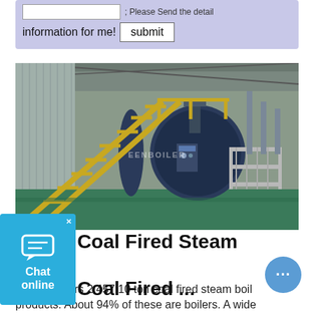; Please Send the detail information for me! [submit button]
[Figure (photo): Industrial coal fired steam boiler inside a factory building, with yellow metal staircases/railings, large dark cylindrical boiler vessel, green floor, watermark reading 'EENBOILER']
10 Ton Coal Fired Steam Boiler, 10 Ton Coal Fired ...
Alibaba offers 2,457 10 ton coal fired steam boiler products. About 94% of these are boilers. A wide